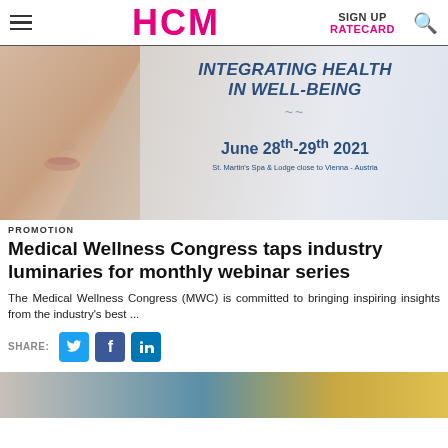HCM | SIGN UP | RATECARD
[Figure (photo): Banner image for Medical Wellness Congress showing a woman's face partially covered by a white fabric, with text overlay 'INTEGRATING HEALTH IN WELL-BEING, June 28th-29th 2021, St. Martin's Spa & Lodge close to Vienna - Austria']
PROMOTION
Medical Wellness Congress taps industry luminaries for monthly webinar series
The Medical Wellness Congress (MWC) is committed to bringing inspiring insights from the industry's best ...
SHARE:
[Figure (photo): Partial bottom image showing a room or venue, cropped at the bottom of the page]